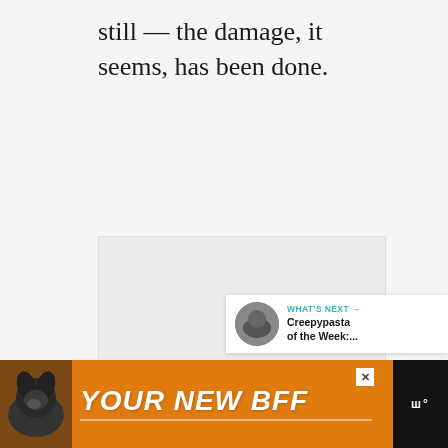still — the damage, it seems, has been done.
[Figure (photo): Large image placeholder area (light gray rectangle), partially visible]
[Figure (infographic): Side action buttons: teal heart/like button, count '18', white share button with share icon]
[Figure (screenshot): What's Next panel with dog thumbnail, label 'WHAT'S NEXT →', and title 'Creepypasta of the Week:...']
[Figure (infographic): Orange advertisement banner with dog image on left, bold white italic text 'YOUR NEW BFF', close X button, and dark logo area on right]